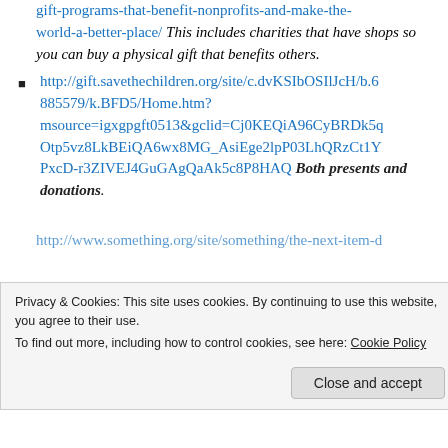gift-programs-that-benefit-nonprofits-and-make-the-world-a-better-place/ This includes charities that have shops so you can buy a physical gift that benefits others.
http://gift.savethechildren.org/site/c.dvKSIbOSIlJcH/b.6885579/k.BFD5/Home.htm?msource=igxgpgft0513&gclid=Cj0KEQiA96CyBRDk5qOtp5vz8LkBEiQA6wx8MG_AsiEge2lpP03LhQRzCt1YPxcD-r3ZIVEJ4GuGAgQaAk5c8P8HAQ Both presents and donations.
[partial link cut off at bottom]
Privacy & Cookies: This site uses cookies. By continuing to use this website, you agree to their use. To find out more, including how to control cookies, see here: Cookie Policy
Close and accept